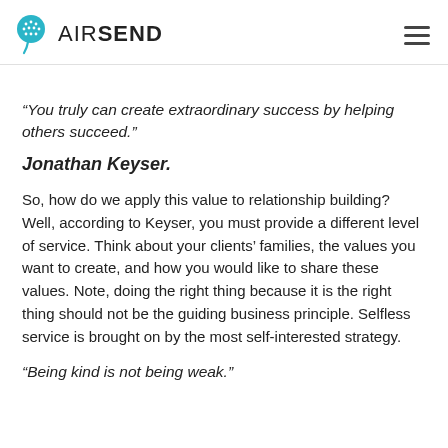AIRSEND
“You truly can create extraordinary success by helping others succeed.”
Jonathan Keyser.
So, how do we apply this value to relationship building? Well, according to Keyser, you must provide a different level of service. Think about your clients’ families, the values you want to create, and how you would like to share these values. Note, doing the right thing because it is the right thing should not be the guiding business principle. Selfless service is brought on by the most self-interested strategy.
“Being kind is not being weak.”